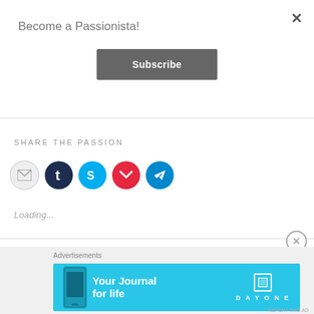Become a Passionista!
Subscribe
SHARE THE PASSION
[Figure (infographic): Row of social sharing icon circles: email (grey), Tumblr (dark blue), Skype (light blue), Pocket (red), Telegram (blue)]
Loading...
Advertisements
[Figure (screenshot): DayOne 'Your Journal for life' advertisement banner in cyan/blue with phone image and DayOne logo]